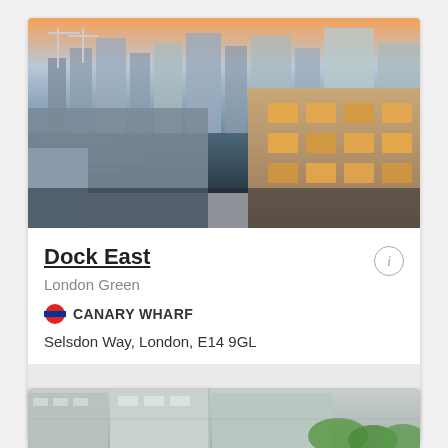[Figure (photo): Aerial cityscape photo of Canary Wharf and docklands area at dusk, showing water, cranes, modern apartment buildings with lit windows, and London skyline in background.]
Dock East
London Green
CANARY WHARF
Selsdon Way, London, E14 9GL
Price from  £397 000
[Figure (photo): Bottom portion of a second property listing photo showing modern apartment buildings with greenery.]